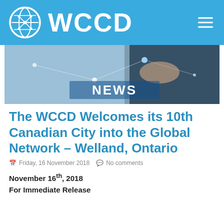WCCD
[Figure (photo): News banner image showing hands interacting with a glowing digital world map, with the word NEWS overlaid in white bold text.]
The WCCD Welcomes its 10th Canadian City into the Global Network – Welland, Ontario
Friday, 16 November 2018  No comments
November 16th, 2018
For Immediate Release